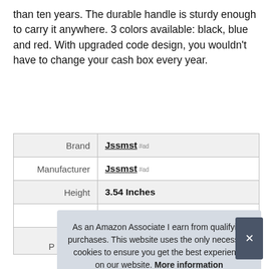than ten years. The durable handle is sturdy enough to carry it anywhere. 3 colors available: black, blue and red. With upgraded code design, you wouldn't have to change your cash box every year.
|  |  |
| --- | --- |
| Brand | Jssmst #ad |
| Manufacturer | Jssmst #ad |
| Height | 3.54 Inches |
| Length | 7.87 Inches |
| Weight | 1.9 Pounds |
| P |  |
As an Amazon Associate I earn from qualifying purchases. This website uses the only necessary cookies to ensure you get the best experience on our website. More information